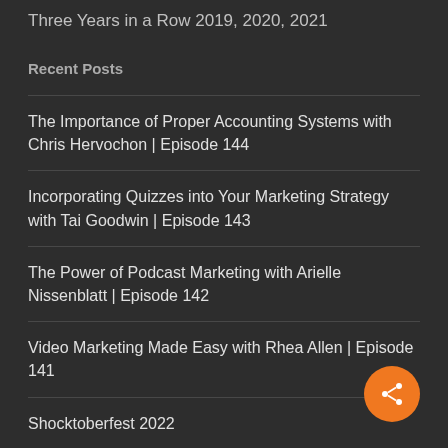Three Years in a Row 2019, 2020, 2021
Recent Posts
The Importance of Proper Accounting Systems with Chris Hervochon | Episode 144
Incorporating Quizzes into Your Marketing Strategy with Tai Goodwin | Episode 143
The Power of Podcast Marketing with Arielle Nissenblatt | Episode 142
Video Marketing Made Easy with Rhea Allen | Episode 141
Shocktoberfest 2022
[Figure (other): Orange circular share button with share icon]